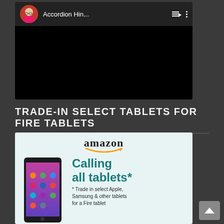[Figure (screenshot): YouTube-style video player showing channel named 'Accordion Hin...' with user avatar, playlist icon, and three-dot menu. Video area is black/dark.]
TRADE-IN SELECT TABLETS FOR FIRE TABLETS
[Figure (screenshot): Amazon advertisement with amazon logo, image of a Fire tablet, and text 'Calling all tablets* * Trade in select Apple, Samsung & other tablets for a Fire tablet']